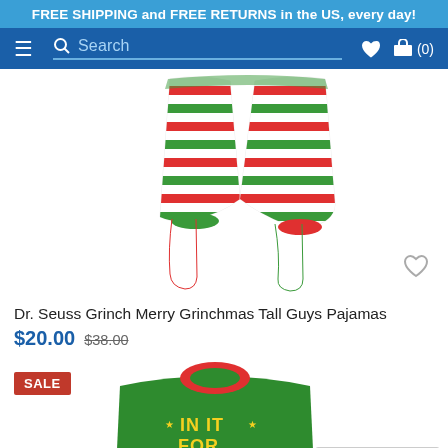FREE SHIPPING and FREE RETURNS in the US, every day!
[Figure (screenshot): Navigation bar with hamburger menu, search bar, wishlist heart icon, and cart icon showing (0)]
[Figure (photo): Dr. Seuss Grinch Merry Grinchmas Tall Guys Pajamas - striped red, green and white pajama pants shown against white background]
Dr. Seuss Grinch Merry Grinchmas Tall Guys Pajamas
$20.00 $38.00
[Figure (photo): Green sweatshirt/pajama top with Grinch character and text 'IN IT FOR' visible, with SALE badge in upper left]
[Figure (logo): TrustedSite CERTIFIED SECURE badge in bottom right corner]